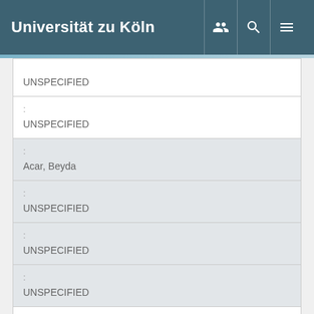Universität zu Köln
| UNSPECIFIED |
| :
UNSPECIFIED |
| :
Acar, Beyda |
| :
UNSPECIFIED |
| :
UNSPECIFIED |
| :
UNSPECIFIED |
| :
Kaschani, Farnusch |
| :
UNSPECIFIED |